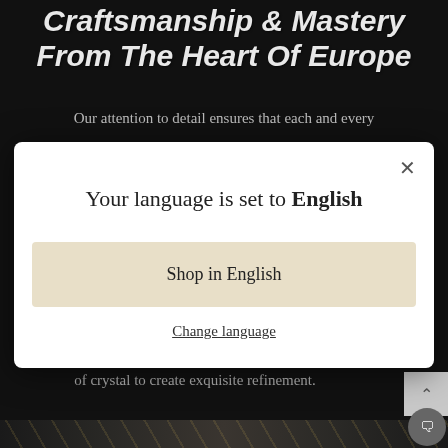Craftsmanship & Mastery From The Heart Of Europe
Our attention to detail ensures that each and every
[Figure (screenshot): Language selection modal dialog with white background, showing 'Your language is set to English', a beige 'Shop in English' button, and an underlined 'Change language' link. An X close button is in the top right corner.]
of crystal to create exquisite refinement.
[Figure (photo): Dark decorative image showing black and dark gray abstract design with gold line details, partially visible at the bottom of the page.]